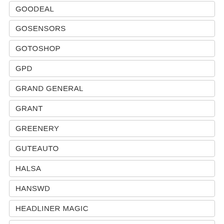GOODEAL
GOSENSORS
GOTOSHOP
GPD
GRAND GENERAL
GRANT
GREENERY
GUTEAUTO
HALSA
HANSWD
HEADLINER MAGIC